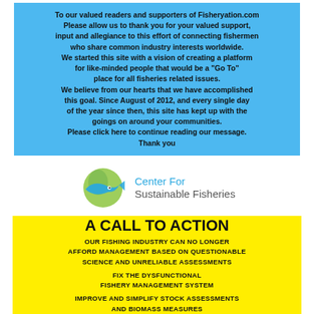To our valued readers and supporters of Fisheryation.com Please allow us to thank you for your valued support, input and allegiance to this effort of connecting fishermen who share common industry interests worldwide. We started this site with a vision of creating a platform for like-minded people that would be a "Go To" place for all fisheries related issues. We believe from our hearts that we have accomplished this goal. Since August of 2012, and every single day of the year since then, this site has kept up with the goings on around your communities. Please click here to continue reading our message. Thank you
[Figure (logo): Center For Sustainable Fisheries logo with a green globe and blue fish graphic]
A CALL TO ACTION
OUR FISHING INDUSTRY CAN NO LONGER AFFORD MANAGEMENT BASED ON QUESTIONABLE SCIENCE AND UNRELIABLE ASSESSMENTS
FIX THE DYSFUNCTIONAL FISHERY MANAGEMENT SYSTEM
IMPROVE AND SIMPLIFY STOCK ASSESSMENTS AND BIOMASS MEASURES
EXPOSE THE DISCRIMINATORY TERM "OVERFISHING"
FACTOR IN ECONOMIC IMPACTS ON FISHING COMMUNITIES
TO VISIT THE